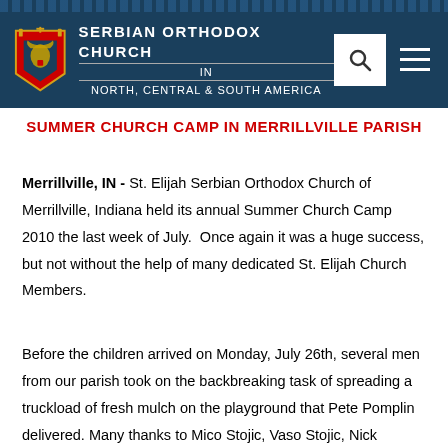[Figure (logo): Serbian Orthodox Church in North, Central & South America header with crest logo, search icon, and menu icon on dark blue background]
SUMMER CHURCH CAMP IN MERRILLVILLE PARISH
Merrillville, IN - St. Elijah Serbian Orthodox Church of Merrillville, Indiana held its annual Summer Church Camp 2010 the last week of July. Once again it was a huge success, but not without the help of many dedicated St. Elijah Church Members.
Before the children arrived on Monday, July 26th, several men from our parish took on the backbreaking task of spreading a truckload of fresh mulch on the playground that Pete Pomplin delivered. Many thanks to Mico Stojic, Vaso Stojic, Nick Bogojevic, Branko Ljuboja,